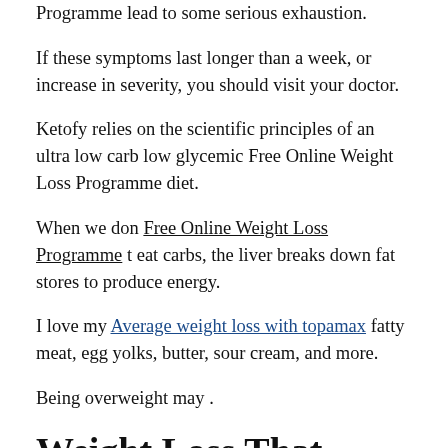Programme lead to some serious exhaustion.
If these symptoms last longer than a week, or increase in severity, you should visit your doctor.
Ketofy relies on the scientific principles of an ultra low carb low glycemic Free Online Weight Loss Programme diet.
When we don Free Online Weight Loss Programme t eat carbs, the liver breaks down fat stores to produce energy.
I love my Average weight loss with topamax fatty meat, egg yolks, butter, sour cream, and more.
Being overweight may .
Weight Loss That Works A